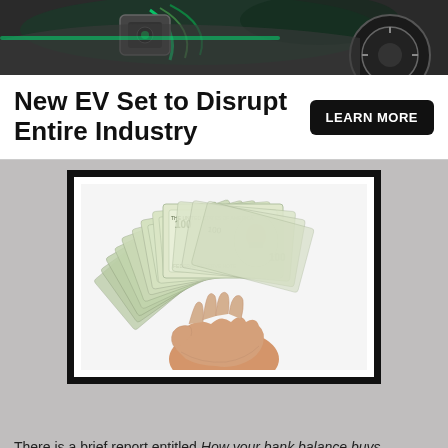[Figure (photo): Partial view of an electric vehicle charging port or EV car, with green lighting accents and a wheel visible, dark background]
New EV Set to Disrupt Entire Industry
LEARN MORE
[Figure (photo): A hand holding a fan of US $100 bills against a white background, displayed inside a thick black frame on a gray background]
There is a brief report entitled How your bank balance buys happiness: The Importance of "Cash on Hand" to Life